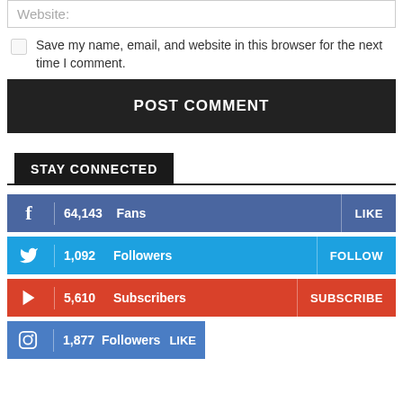Website:
Save my name, email, and website in this browser for the next time I comment.
POST COMMENT
STAY CONNECTED
64,143  Fans  LIKE
1,092  Followers  FOLLOW
5,610  Subscribers  SUBSCRIBE
1,877 Followers  LIKE